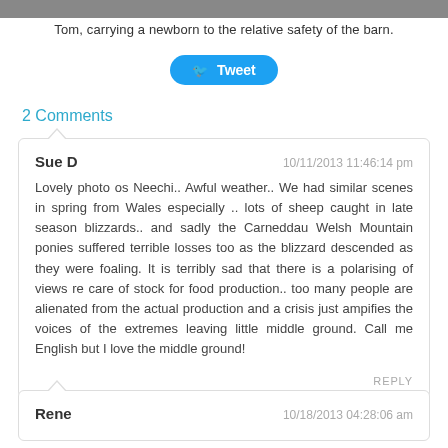Tom, carrying a newborn to the relative safety of the barn.
[Figure (other): Tweet button]
2 Comments
Sue D
10/11/2013 11:46:14 pm
Lovely photo os Neechi.. Awful weather.. We had similar scenes in spring from Wales especially .. lots of sheep caught in late season blizzards.. and sadly the Carneddau Welsh Mountain ponies suffered terrible losses too as the blizzard descended as they were foaling. It is terribly sad that there is a polarising of views re care of stock for food production.. too many people are alienated from the actual production and a crisis just ampifies the voices of the extremes leaving little middle ground. Call me English but I love the middle ground!
Rene
10/18/2013 04:28:06 am